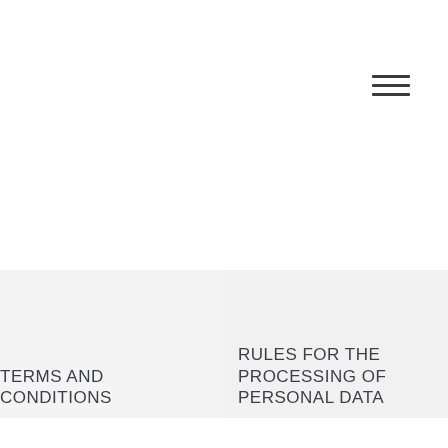[Figure (other): Hamburger menu icon (three horizontal lines) in top-right corner]
TERMS AND CONDITIONS
RULES FOR THE PROCESSING OF PERSONAL DATA